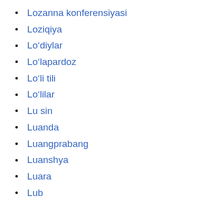Lozanna konferensiyasi
Loziqiya
Lo‘diylar
Lo‘lapardoz
Lo‘li tili
Lo‘lilar
Lu sin
Luanda
Luangprabang
Luanshya
Luara
Lub